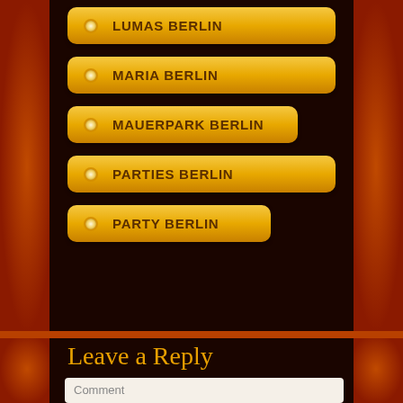LUMAS BERLIN
MARIA BERLIN
MAUERPARK BERLIN
PARTIES BERLIN
PARTY BERLIN
Leave a Reply
Your email address will not be published.
Comment